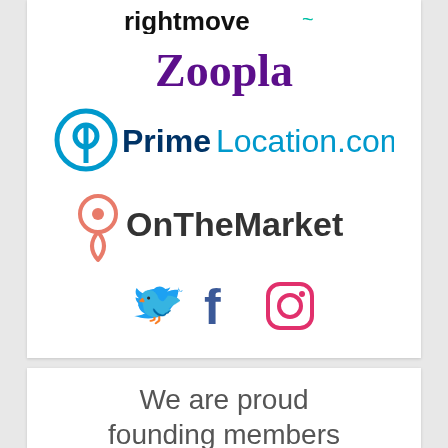[Figure (logo): Rightmove logo (partially cropped at top)]
[Figure (logo): Zoopla logo in purple text]
[Figure (logo): PrimeLocation.com logo with blue circular P icon]
[Figure (logo): OnTheMarket logo with pin/location icon in coral/salmon color]
[Figure (logo): Social media icons: Twitter (blue bird), Facebook (blue f), Instagram (gradient circle camera)]
We are proud founding members